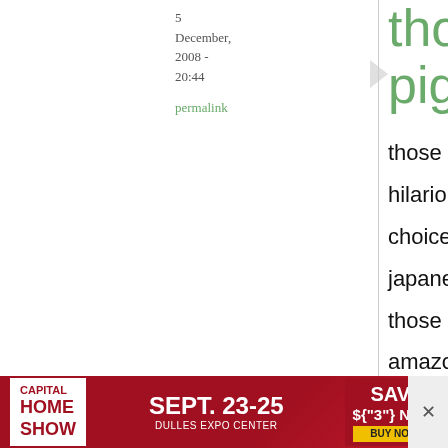5 December, 2008 - 20:44
permalink
those lemon pigs are
those lemon pigs are hilarious, but given the choice id take the two japanese books. one of those has been on my amazon wishlist for who knows how long. congrats again on the anniversary, i love
[Figure (other): Capital Home Show advertisement banner: SEPT. 23-25, DULLES EXPO CENTER, SAVE $3 NOW BUY NOW]